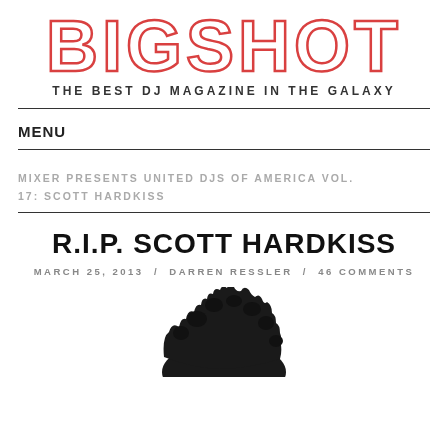BIGSHOT — THE BEST DJ MAGAZINE IN THE GALAXY
MENU
MIXER PRESENTS UNITED DJS OF AMERICA VOL. 17: SCOTT HARDKISS
R.I.P. SCOTT HARDKISS
MARCH 25, 2013 / DARREN RESSLER / 46 COMMENTS
[Figure (photo): Top portion of a person's head showing dark curly hair against a white background]